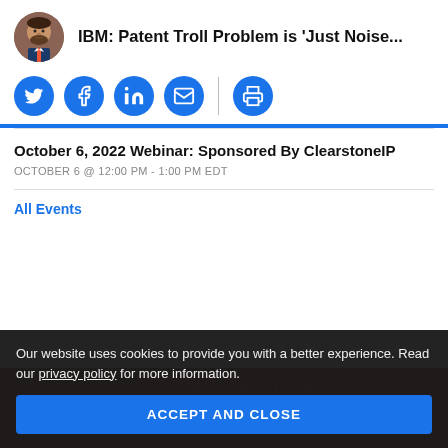IBM: Patent Troll Problem is 'Just Noise...
[Figure (illustration): Social sharing icons row: Twitter, Facebook, LinkedIn, Email, Print]
October 6, 2022 Webinar: Sponsored By ClearstoneIP
OCTOBER 6 @ 12:00 PM - 1:00 PM EDT
All Events
Our website uses cookies to provide you with a better experience. Read our privacy policy for more information.
ACCEPT AND CLOSE